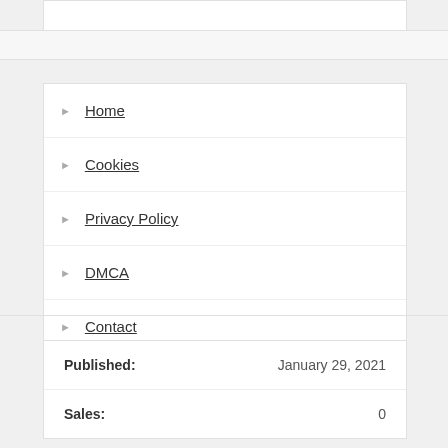Home
Cookies
Privacy Policy
DMCA
Contact
| Field | Value |
| --- | --- |
| Published: | January 29, 2021 |
| Sales: | 0 |